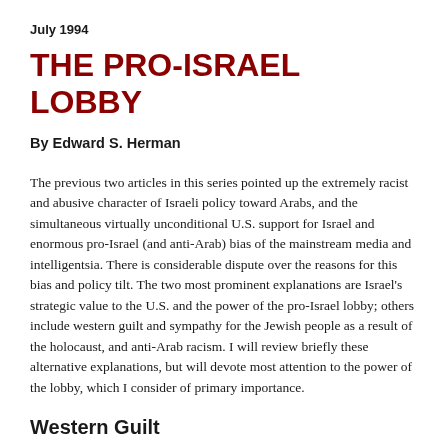July 1994
THE PRO-ISRAEL LOBBY
By Edward S. Herman
The previous two articles in this series pointed up the extremely racist and abusive character of Israeli policy toward Arabs, and the simultaneous virtually unconditional U.S. support for Israel and enormous pro-Israel (and anti-Arab) bias of the mainstream media and intelligentsia. There is considerable dispute over the reasons for this bias and policy tilt. The two most prominent explanations are Israel's strategic value to the U.S. and the power of the pro-Israel lobby; others include western guilt and sympathy for the Jewish people as a result of the holocaust, and anti-Arab racism. I will review briefly these alternative explanations, but will devote most attention to the power of the lobby, which I consider of primary importance.
Western Guilt
As an explanation of western support for Israel, guilt over the holocaust and sympathy with the victim people is a